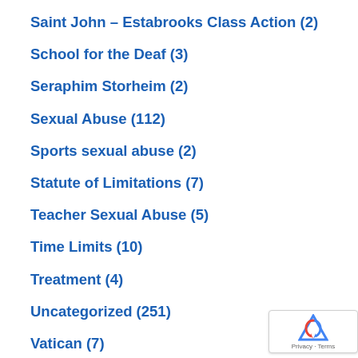Saint John – Estabrooks Class Action (2)
School for the Deaf (3)
Seraphim Storheim (2)
Sexual Abuse (112)
Sports sexual abuse (2)
Statute of Limitations (7)
Teacher Sexual Abuse (5)
Time Limits (10)
Treatment (4)
Uncategorized (251)
Vatican (7)